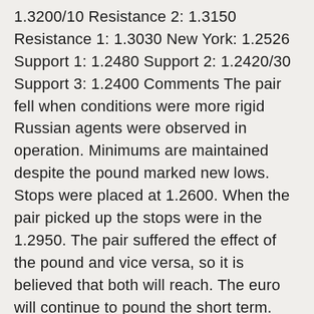1.3200/10 Resistance 2: 1.3150 Resistance 1: 1.3030 New York: 1.2526 Support 1: 1.2480 Support 2: 1.2420/30 Support 3: 1.2400 Comments The pair fell when conditions were more rigid Russian agents were observed in operation. Minimums are maintained despite the pound marked new lows. Stops were placed at 1.2600. When the pair picked up the stops were in the 1.2950. The pair suffered the effect of the pound and vice versa, so it is believed that both will reach. The euro will continue to pound the short term. The pair came under pressure and it is advisable to buy. It is expected more volatility. Double action is awaited. Several traders took profits despite the uncertainty in the market. Thursday: All times EASTERN (-5 GMT) 2:00 a.m. EUR Preliminary GDP q / q 2:45 a.m. EUR German CPI m / m 4:00 a.m. French EUR ECB Monthly Bulletin foreign currency trading